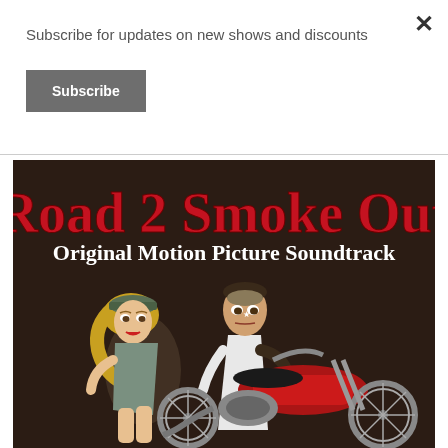Subscribe for updates on new shows and discounts
Subscribe
[Figure (illustration): Album cover for 'Road 2 Smoke Out - Original Motion Picture Soundtrack'. Dark brown background with cartoon illustration of a woman and man riding a red motorcycle. Large red gothic text reads 'Road 2 Smoke Out' and white text reads 'Original Motion Picture Soundtrack'.]